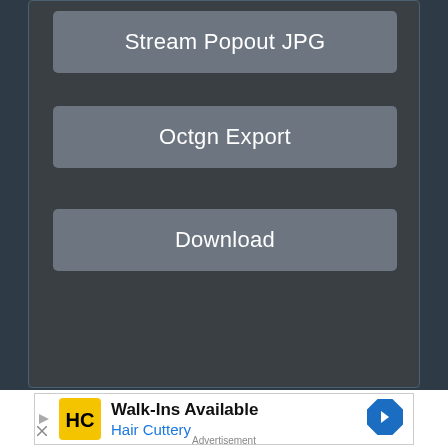[Figure (screenshot): Dark UI panel with three gray rounded-rectangle buttons labeled 'Stream Popout JPG', 'Octgn Export', and 'Download' on a dark background.]
[Figure (other): Advertisement banner for Hair Cuttery: 'Walk-Ins Available' with HC logo and navigation arrow icon.]
Advertisement